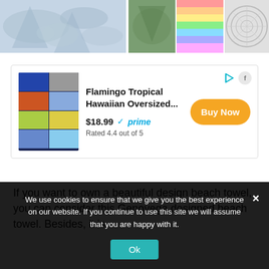[Figure (photo): Top image strip showing beach towel product images — large light blue tropical design on the left, and three smaller thumbnails on the right (green tropical, rainbow striped, white circular mandala pattern)]
[Figure (screenshot): Amazon advertisement box for 'Flamingo Tropical Hawaiian Oversized...' priced at $18.99 with Prime, Rated 4.4 out of 5, with Buy Now orange button]
If you want to own a beautiful design beach towel, you can consider this Genovega designed beach towel. Besides, it is
We use cookies to ensure that we give you the best experience on our website. If you continue to use this site we will assume that you are happy with it.